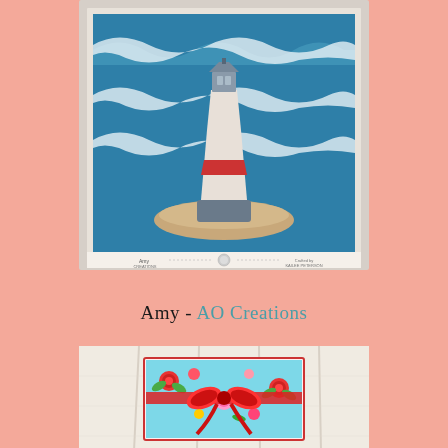[Figure (photo): Photo of a lighthouse illustration/print — stylized lighthouse with red stripe band, on a sandy island, with blue ocean waves in background, framed in light beige mat. Below the image is a label strip with text including 'Amy Creations' and 'Crafted by' information.]
Amy - AO Creations
[Figure (photo): Photo of a handmade gift card or envelope on a white wood plank background. The card has a colorful floral pattern (roses, green leaves on bright background) with a red and white ribbon bow tied across it.]